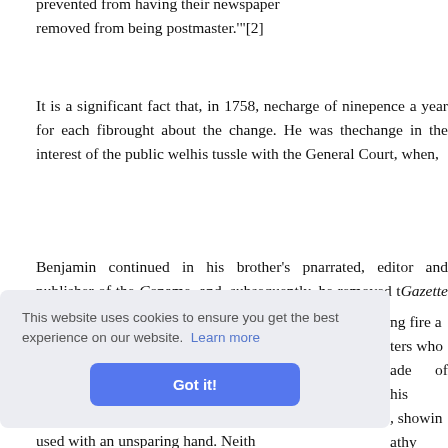prevented from having their newspapers removed from being postmaster.'"[2]
It is a significant fact that, in 1758, ne... charge of ninepence a year for each fi... brought about the change. He was then... change in the interest of the public wel... his tussle with the General Court, when,
Benjamin continued in his brother's p... narrated, editor and publisher of the Co... name, and, subsequently, he removed t... Gazette in 1732.
...ng fire a... ters who... ade of his... , showin... athy with...
...n the vic... used with an unsparing hand. Neith...